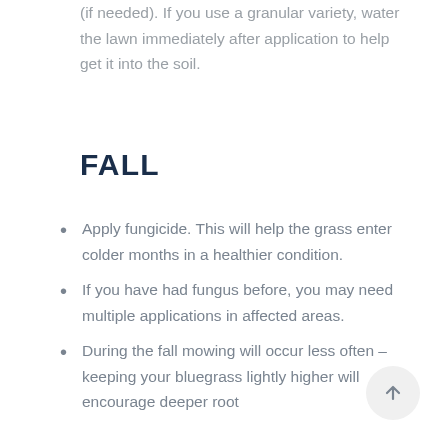(if needed). If you use a granular variety, water the lawn immediately after application to help get it into the soil.
FALL
Apply fungicide. This will help the grass enter colder months in a healthier condition.
If you have had fungus before, you may need multiple applications in affected areas.
During the fall mowing will occur less often – keeping your bluegrass lightly higher will encourage deeper root